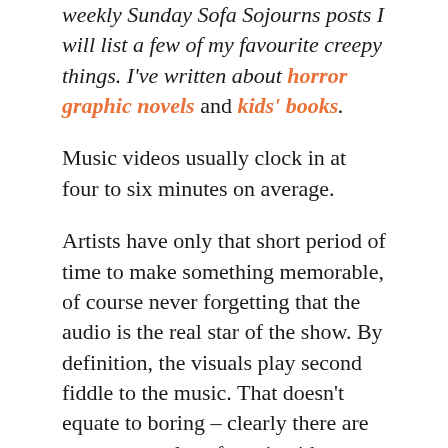weekly Sunday Sofa Sojourns posts I will list a few of my favourite creepy things. I've written about horror graphic novels and kids' books.
Music videos usually clock in at four to six minutes on average.
Artists have only that short period of time to make something memorable, of course never forgetting that the audio is the real star of the show. By definition, the visuals play second fiddle to the music. That doesn't equate to boring – clearly there are many examples of music videos becoming as recognisable as the songs they accompany (think A-ha's 'Take On Me,' or Queen's 'Bohemian Rhapsody,' to name a few). The creativity involved in integrating both pieces of content makes music